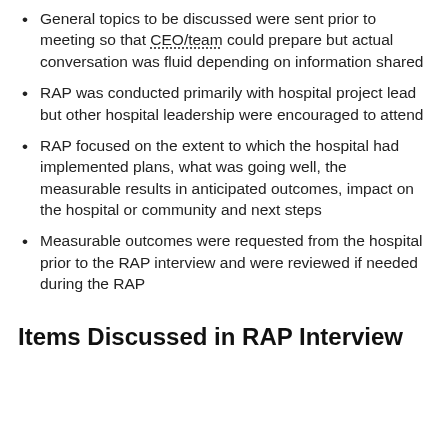General topics to be discussed were sent prior to meeting so that CEO/team could prepare but actual conversation was fluid depending on information shared
RAP was conducted primarily with hospital project lead but other hospital leadership were encouraged to attend
RAP focused on the extent to which the hospital had implemented plans, what was going well, the measurable results in anticipated outcomes, impact on the hospital or community and next steps
Measurable outcomes were requested from the hospital prior to the RAP interview and were reviewed if needed during the RAP
Items Discussed in RAP Interview